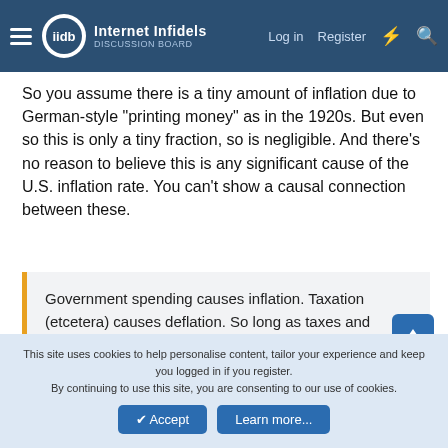Internet Infidels — Log in  Register
So you assume there is a tiny amount of inflation due to German-style "printing money" as in the 1920s. But even so this is only a tiny fraction, so is negligible. And there's no reason to believe this is any significant cause of the U.S. inflation rate. You can't show a causal connection between these.
Government spending causes inflation. Taxation (etcetera) causes deflation. So long as taxes and spending are balanced, we don't get either inflation or deflation.
We do get other inflation or deflation unrelated to government spending and taxing.
This site uses cookies to help personalise content, tailor your experience and keep you logged in if you register.
By continuing to use this site, you are consenting to our use of cookies.